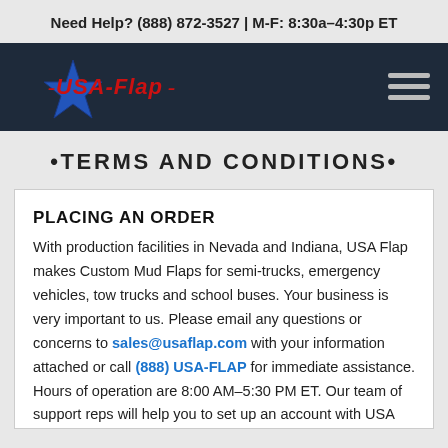Need Help? (888) 872-3527 | M-F: 8:30a–4:30p ET
[Figure (logo): USA-Flap logo with blue star and red italic text on dark navy navigation bar]
•TERMS AND CONDITIONS•
PLACING AN ORDER
With production facilities in Nevada and Indiana, USA Flap makes Custom Mud Flaps for semi-trucks, emergency vehicles, tow trucks and school buses. Your business is very important to us. Please email any questions or concerns to sales@usaflap.com with your information attached or call (888) USA-FLAP for immediate assistance. Hours of operation are 8:00 AM–5:30 PM ET. Our team of support reps will help you to set up an account with USA Flap. A business application and resale